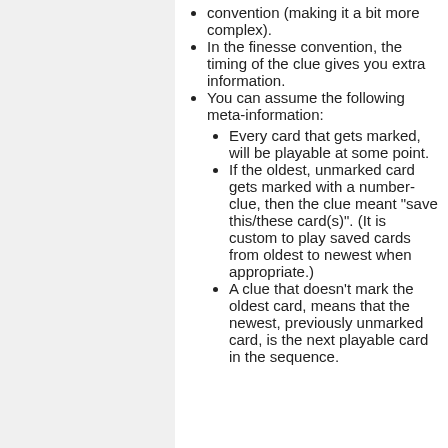convention (making it a bit more complex).
In the finesse convention, the timing of the clue gives you extra information.
You can assume the following meta-information:
Every card that gets marked, will be playable at some point.
If the oldest, unmarked card gets marked with a number-clue, then the clue meant "save this/these card(s)". (It is custom to play saved cards from oldest to newest when appropriate.)
A clue that doesn't mark the oldest card, means that the newest, previously unmarked card, is the next playable card in the sequence.